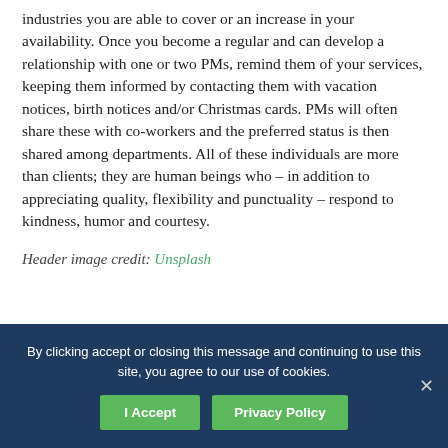industries you are able to cover or an increase in your availability. Once you become a regular and can develop a relationship with one or two PMs, remind them of your services, keeping them informed by contacting them with vacation notices, birth notices and/or Christmas cards. PMs will often share these with co-workers and the preferred status is then shared among departments. All of these individuals are more than clients; they are human beings who – in addition to appreciating quality, flexibility and punctuality – respond to kindness, humor and courtesy.
Header image credit: Unsplash
By clicking accept or closing this message and continuing to use this site, you agree to our use of cookies.